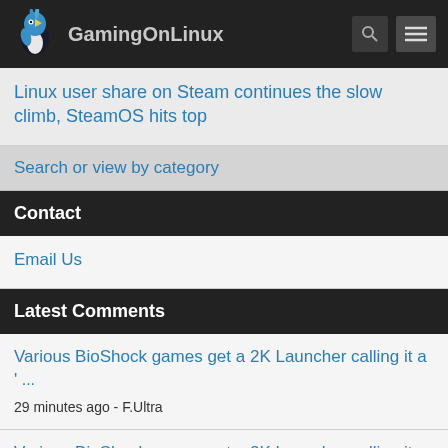GamingOnLinux
Linux user share on Steam continues the slow climb, SteamOS hits top
Search or view by category
Contact
Email Us
Latest Comments
Various BioShock games get a 2K Launcher calling it a '
...
29 minutes ago - F.Ultra
Various BioShock games get a 2K Launcher calling it a '
...
about 2 hours ago - MadWolf